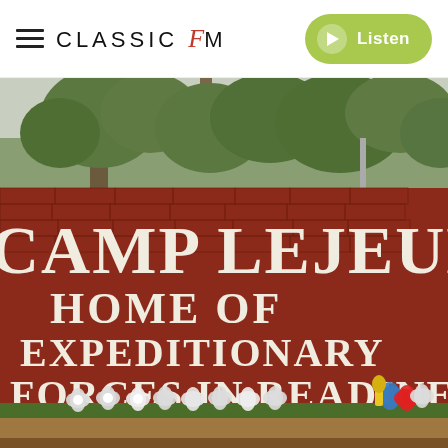Classic FM — Listen
[Figure (photo): Photograph of the Camp Lejeune entrance sign on a red brick wall reading 'CAMP LEJEUNE HOME OF EXPEDITIONARY FORCES IN READINESS', with white flower arrangements placed at the base of the sign and trees visible in the background.]